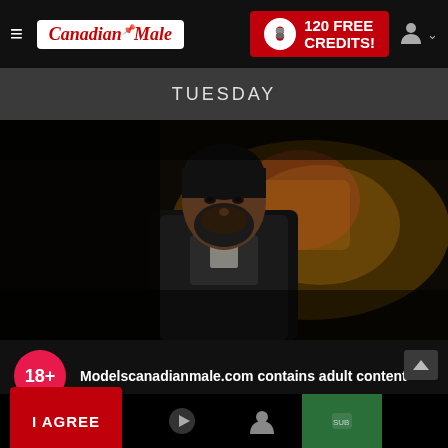CanadianMale — 120 FREE CREDITS!
TUESDAY
[Figure (photo): Dark moody photo of a bearded man in a dark jacket looking at camera, background with warm yellowish tones]
Modelscanadianmale.com contains adult content
By using the site, you acknowledge you have read our Privacy Policy, and agree to our Terms and Conditions.
We use cookies to optimize your experience, analyze traffic, and deliver more personalized service. To learn more, please see our Privacy Policy.
I AGREE